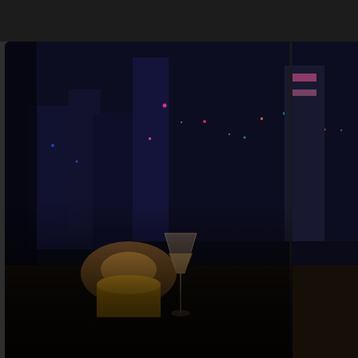[Figure (screenshot): Screenshot of a food blog profile page showing 'tokyo food file' with a night city view image featuring champagne glasses and candles, a house/home icon, blog title overlay, profile section with avatar, bio, follower stats, and a partial right panel showing 'dinner at L' text.]
tokyo food file
ROBBIE SWINNERTON SERVES UP MORSELS FROM THE FOODIEST CITY ON THE PLANET
tokyo food file
Food writer and restaurant reviewer for the Japan Times contact: foodfile (at) me (dot) com
5 FOLLOWING
202 FOLLOWERS
Follow
dinner at L